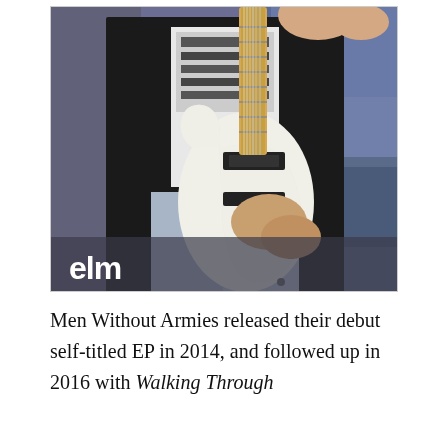[Figure (photo): A person wearing a black blazer and graphic t-shirt holding a white electric guitar (Stratocaster-style) in front of a graffiti wall. The graffiti includes the partial text 'elm' in white letters at the bottom left. The guitar neck extends upward toward the top of the frame.]
Men Without Armies released their debut self-titled EP in 2014, and followed up in 2016 with Walking Through